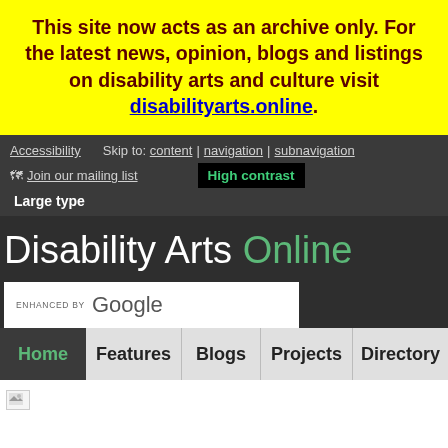This site now acts as an archive only. For the latest news, opinion, blogs and listings on disability arts and culture visit disabilityarts.online.
Accessibility | Skip to: content | navigation | subnavigation | Join our mailing list | High contrast | Large type
Disability Arts Online
[Figure (screenshot): Google search bar with text: ENHANCED BY Google]
Home | Features | Blogs | Projects | Directory
[Figure (photo): Broken image placeholder]